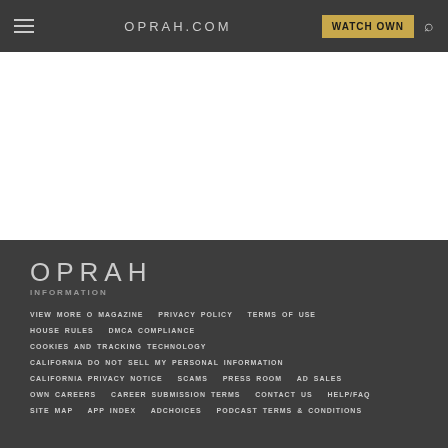OPRAH.COM  WATCH OWN
[Figure (other): White content area placeholder]
OPRAH
INFORMATION
VIEW MORE O MAGAZINE  PRIVACY POLICY  TERMS OF USE  HOUSE RULES  DMCA COMPLIANCE  COOKIES AND TRACKING TECHNOLOGY  CALIFORNIA DO NOT SELL MY PERSONAL INFORMATION  CALIFORNIA PRIVACY NOTICE  SCAMS  PRESS ROOM  AD SALES  OWN CAREERS  CAREER SUBMISSION TERMS  CONTACT US  HELP/FAQ  SITE MAP  APP INDEX  ADCHOICES  PODCAST TERMS & CONDITIONS